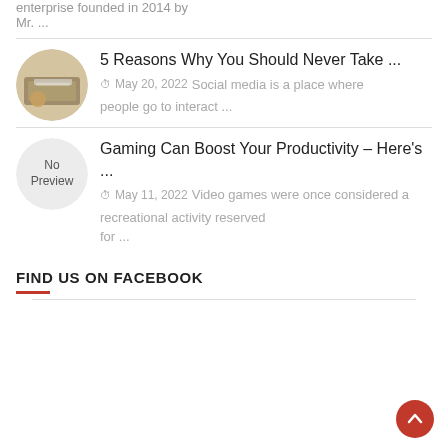enterprise founded in 2014 by Mr. ...
5 Reasons Why You Should Never Take ...
May 20, 2022
Social media is a place where people go to interact ...
Gaming Can Boost Your Productivity – Here's ...
May 11, 2022
Video games were once considered a recreational activity reserved for ...
FIND US ON FACEBOOK